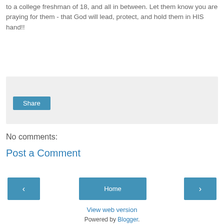to a college freshman of 18, and all in between. Let them know you are praying for them - that God will lead, protect, and hold them in HIS hand!!
[Figure (screenshot): Share button widget area with light gray background]
No comments:
Post a Comment
[Figure (screenshot): Navigation bar with previous arrow button, Home button, and next arrow button]
View web version
Powered by Blogger.